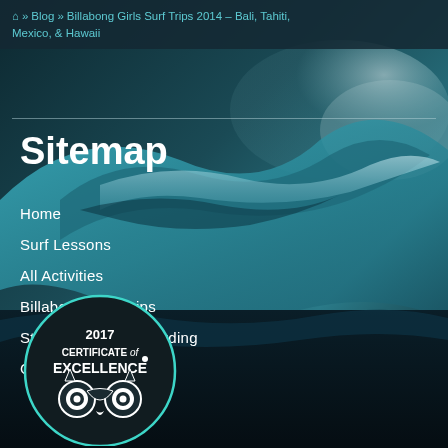🏠 » Blog » Billabong Girls Surf Trips 2014 – Bali, Tahiti, Mexico, & Hawaii
[Figure (photo): Large ocean wave photo with dark teal tones forming the background of the page]
Sitemap
Home
Surf Lessons
All Activities
Billabong Surf Trips
Standup Paddle Boarding
Contact Us
[Figure (logo): 2017 Certificate of Excellence badge with TripAdvisor owl logo, circular dark badge with teal border]